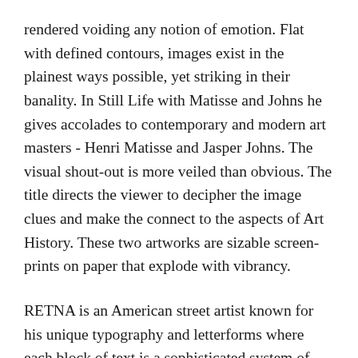rendered voiding any notion of emotion. Flat with defined contours, images exist in the plainest ways possible, yet striking in their banality. In Still Life with Matisse and Johns he gives accolades to contemporary and modern art masters - Henri Matisse and Jasper Johns. The visual shout-out is more veiled than obvious. The title directs the viewer to decipher the image clues and make the connect to the aspects of Art History. These two artworks are sizable screen-prints on paper that explode with vibrancy.
RETNA is an American street artist known for his unique typography and letterforms where each block of text is a sophisticated system of script, culled from hieroglyphs, calligraphy and illuminated lettering. With influences ranging from Arabic, Egyptian, Hebrew, Old English, and Native American mythologies, RETNA's unique vocabulary